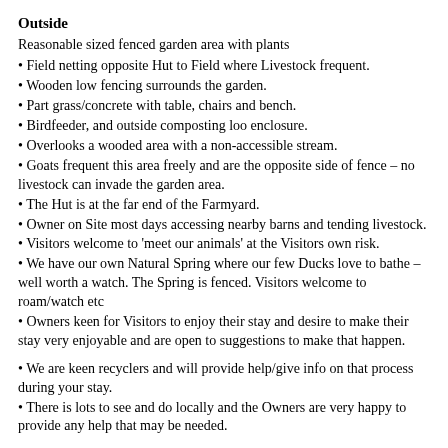Outside
Reasonable sized fenced garden area with plants
Field netting opposite Hut to Field where Livestock frequent.
Wooden low fencing surrounds the garden.
Part grass/concrete with table, chairs and bench.
Birdfeeder, and outside composting loo enclosure.
Overlooks a wooded area with a non-accessible stream.
Goats frequent this area freely and are the opposite side of fence – no livestock can invade the garden area.
The Hut is at the far end of the Farmyard.
Owner on Site most days accessing nearby barns and tending livestock.
Visitors welcome to 'meet our animals' at the Visitors own risk.
We have our own Natural Spring where our few Ducks love to bathe – well worth a watch. The Spring is fenced. Visitors welcome to roam/watch etc
Owners keen for Visitors to enjoy their stay and desire to make their stay very enjoyable and are open to suggestions to make that happen.
We are keen recyclers and will provide help/give info on that process during your stay.
There is lots to see and do locally and the Owners are very happy to provide any help that may be needed.